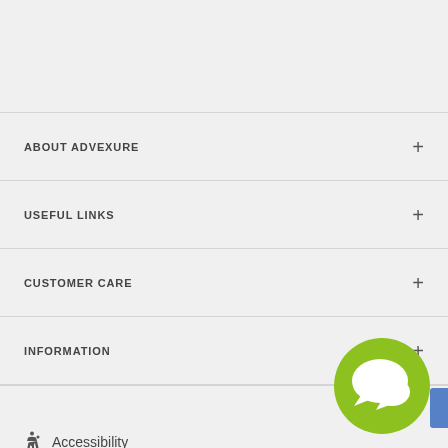ABOUT ADVEXURE
USEFUL LINKS
CUSTOMER CARE
INFORMATION
Accessibility
Privacy · Terms